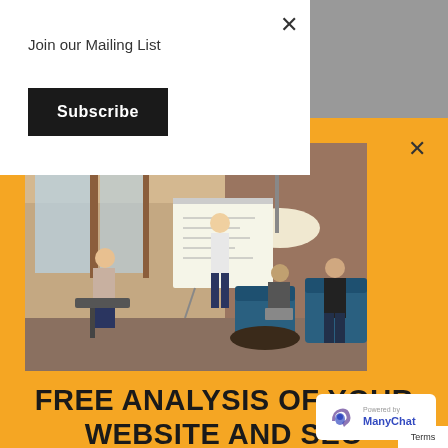Join our Mailing List
Subscribe
[Figure (screenshot): Orange popup modal showing an office meeting photo with people around a whiteboard, with headline 'FREE ANALYSIS OF YOUR WEBSITE AND SEO' and a ManyChat powered badge.]
FREE ANALYSIS OF YOUR WEBSITE AND SEO